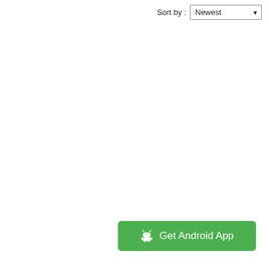Sort by : Newest
[Figure (screenshot): Green button labeled 'Get Android App' with Android robot icon]